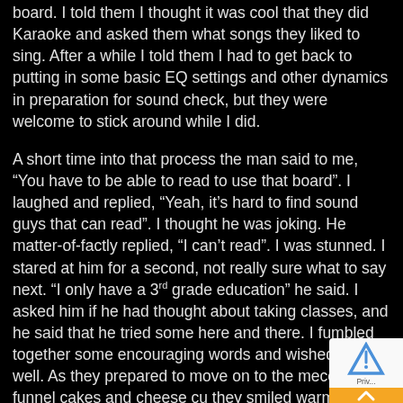board. I told them I thought it was cool that they did Karaoke and asked them what songs they liked to sing. After a while I told them I had to get back to putting in some basic EQ settings and other dynamics in preparation for sound check, but they were welcome to stick around while I did.
A short time into that process the man said to me, “You have to be able to read to use that board”. I laughed and replied, “Yeah, it’s hard to find sound guys that can read”. I thought he was joking. He matter-of-factly replied, “I can’t read”. I was stunned. I stared at him for a second, not really sure what to say next. “I only have a 3rd grade education” he said. I asked him if he had thought about taking classes, and he said that he tried some here and there. I fumbled together some encouraging words and wished him well. As they prepared to move on to the mecca of funnel cakes and cheese cu... they smiled warmly and thanked me for letting them ha... I smiled back, and then turned back to my board. I now sa...